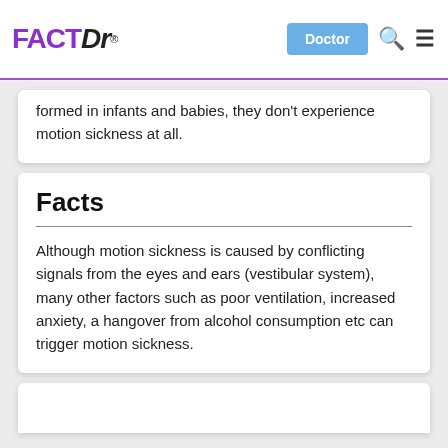FACTDr — Doctor | Search | Menu
formed in infants and babies, they don't experience motion sickness at all.
Facts
Although motion sickness is caused by conflicting signals from the eyes and ears (vestibular system), many other factors such as poor ventilation, increased anxiety, a hangover from alcohol consumption etc can trigger motion sickness.